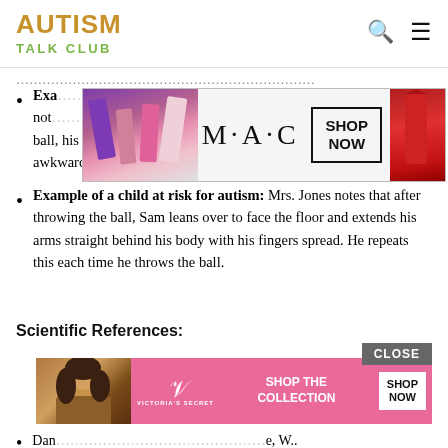AUTISM TALK CLUB
…partially visible text…
[Figure (photo): MAC cosmetics advertisement banner showing lipsticks with SHOP NOW button]
Example of a [typical/TD] child: …with noticing… throwing a ball, his throw is still very clumsy and he holds the ball awkwardly.
Example of a child at risk for autism: Mrs. Jones notes that after throwing the ball, Sam leans over to face the floor and extends his arms straight behind his body with his fingers spread. He repeats this each time he throws the ball.
Scientific References:
[Figure (photo): Victoria's Secret advertisement banner with SHOP THE COLLECTION and SHOP NOW button]
Dan… …e, W.. Wh…